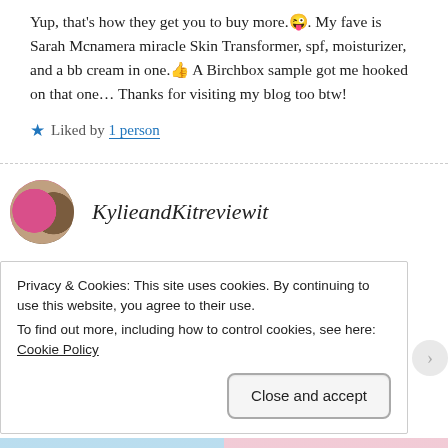Yup, that’s how they get you to buy more.😜. My fave is Sarah Mcnamera miracle Skin Transformer, spf, moisturizer, and a bb cream in one.👍 A Birchbox sample got me hooked on that one… Thanks for visiting my blog too btw!
★ Liked by 1 person
KylieandKitreviewit
Privacy & Cookies: This site uses cookies. By continuing to use this website, you agree to their use.
To find out more, including how to control cookies, see here: Cookie Policy
Close and accept